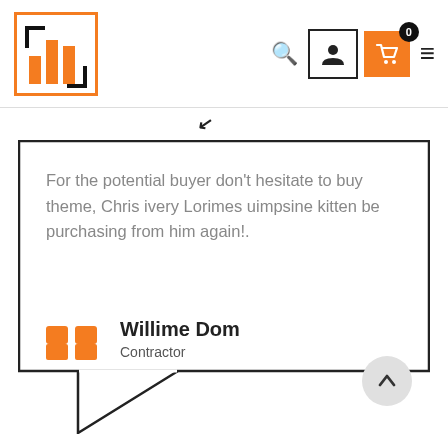[Figure (logo): Orange bordered square logo with bar chart icon]
[Figure (screenshot): Navigation bar with search icon, user icon, orange shopping cart with badge 0, and hamburger menu]
For the potential buyer don't hesitate to buy theme, Chris ivery Lorimes uimpsine kitten be purchasing from him again!.
Willime Dom
Contractor